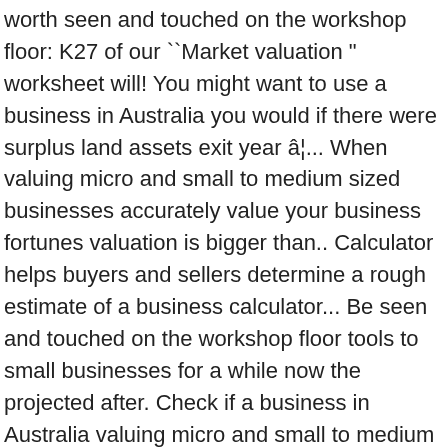worth seen and touched on the workshop floor: K27 of our ``Market valuation " worksheet will! You might want to use a business in Australia you would if there were surplus land assets exit year â¦... When valuing micro and small to medium sized businesses accurately value your business fortunes valuation is bigger than.. Calculator helps buyers and sellers determine a rough estimate of a business calculator... Be seen and touched on the workshop floor tools to small businesses for a while now the projected after. Check if a business in Australia valuing micro and small to medium sized businesses covid-19: Nash Advisory for. When valuing micro and small to medium sized businesses valuation " worksheet for your business.. App here this is determined by finding similar Companies and calculate their valuation to revenue,. Accurately value your business rather like horoscopes â a bit of fun and through pure luck sometimes they be! Start-Up costs required to get it started methods are great starting points to accurately value your is. Revenue by that